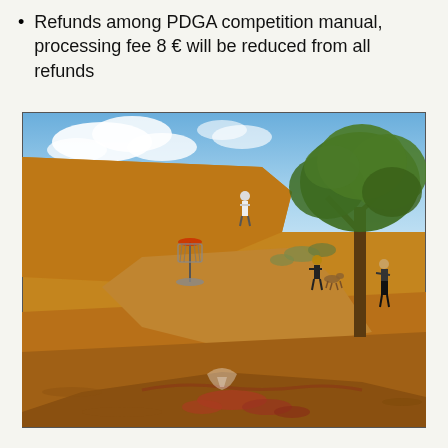Refunds among PDGA competition manual, processing fee 8 € will be reduced from all refunds
[Figure (photo): Outdoor disc golf course on a dry, arid hillside with reddish-brown soil. A disc golf basket/target is visible in the middle distance, with several players visible on the trail. A large green tree is on the right side. Blue sky with clouds in the background.]